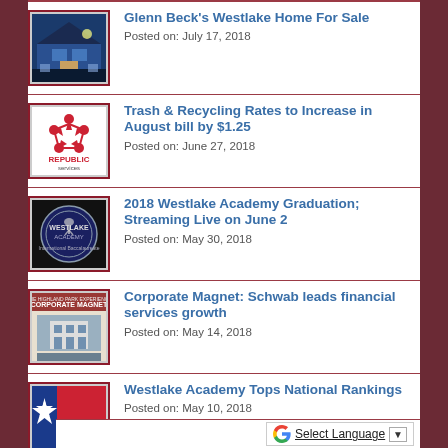Glenn Beck's Westlake Home For Sale
Posted on: July 17, 2018
Trash & Recycling Rates to Increase in August bill by $1.25
Posted on: June 27, 2018
2018 Westlake Academy Graduation; Streaming Live on June 2
Posted on: May 30, 2018
Corporate Magnet: Schwab leads financial services growth
Posted on: May 14, 2018
Westlake Academy Tops National Rankings
Posted on: May 10, 2018
Select Language